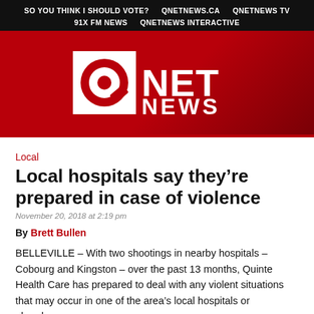SO YOU THINK I SHOULD VOTE?   QNETNEWS.CA   QNETNEWS TV   91X FM NEWS   QNETNEWS INTERACTIVE
[Figure (logo): QNet News logo — white Q circle graphic with NET NEWS text on dark red banner background]
Local
Local hospitals say they're prepared in case of violence
November 20, 2018 at 2:19 pm
By Brett Bullen
BELLEVILLE – With two shootings in nearby hospitals – Cobourg and Kingston – over the past 13 months, Quinte Health Care has prepared to deal with any violent situations that may occur in one of the area's local hospitals or elsewhere.